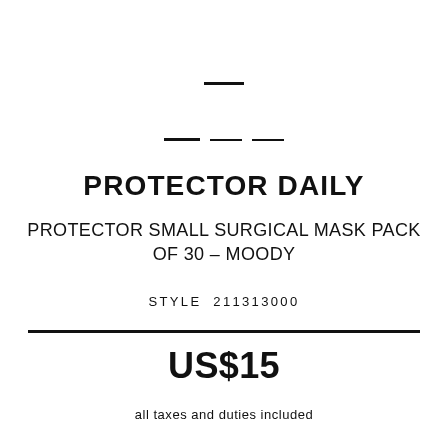PROTECTOR DAILY
PROTECTOR SMALL SURGICAL MASK PACK OF 30 – MOODY
STYLE  211313000
US$15
all taxes and duties included